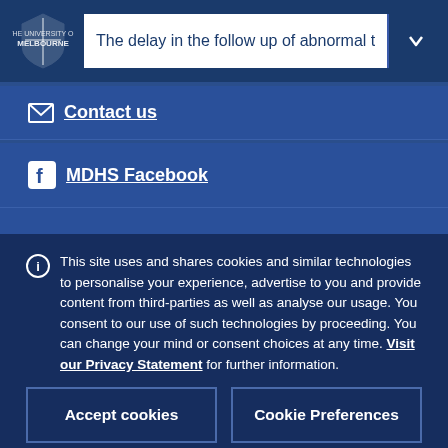The delay in the follow up of abnormal t
Contact us
MDHS Facebook
This site uses and shares cookies and similar technologies to personalise your experience, advertise to you and provide content from third-parties as well as analyse our usage. You consent to our use of such technologies by proceeding. You can change your mind or consent choices at any time. Visit our Privacy Statement for further information.
Accept cookies
Cookie Preferences